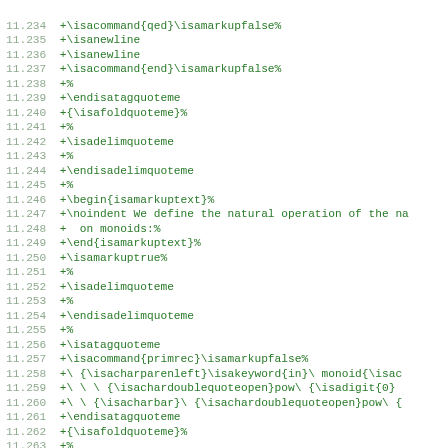Code diff listing lines 11.234 through 11.266 showing LaTeX/ISA markup commands in green monospace font